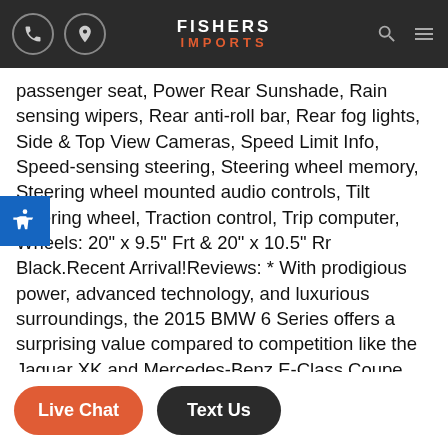Fishers Imports
passenger seat, Power Rear Sunshade, Rain sensing wipers, Rear anti-roll bar, Rear fog lights, Side & Top View Cameras, Speed Limit Info, Speed-sensing steering, Steering wheel memory, Steering wheel mounted audio controls, Tilt steering wheel, Traction control, Trip computer, Wheels: 20" x 9.5" Frt & 20" x 10.5" Rr Black.Recent Arrival!Reviews: * With prodigious power, advanced technology, and luxurious surroundings, the 2015 BMW 6 Series offers a surprising value compared to competition like the Jaguar XK and Mercedes-Benz E-Class Coupe. Source: KBB.com * Extremely powerful engine; responsive automated manual transmission; wide range of comfort and performance settings; appealing styling. Source: Edmunds * Exceptionally powerful engine; responsive automated manual transmission; wide range of comfort and performance settings; highly adjustable front seats. Source: Edmunds